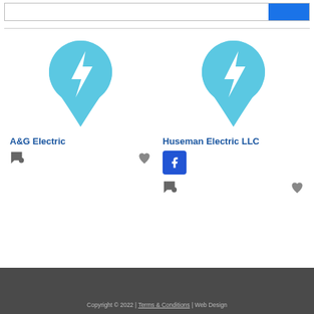[Figure (screenshot): Top search bar with blue button on the right]
[Figure (illustration): Electrician business listing card for A&G Electric with teal lightning bolt location pin icon, comment icon, and heart icon]
A&G Electric
[Figure (illustration): Electrician business listing card for Huseman Electric LLC with teal lightning bolt location pin icon, Facebook button, comment icon, and heart icon]
Huseman Electric LLC
Copyright © 2022 | Terms & Conditions | Web Design